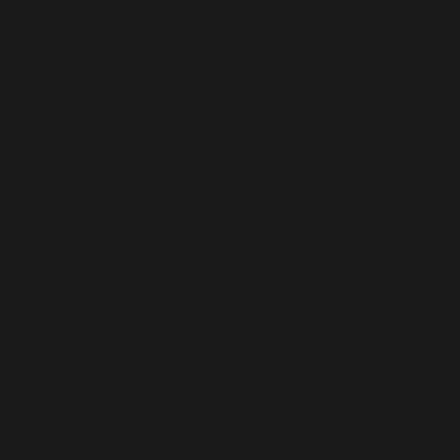What's Included
This kit includes all of the pa
Aluminum extrusion,
Profile Linear Guide
PRO X & Y bumper
PRO rack and pinion
Ballscrew Z axis
All required fasteners
Cable Track (E-chain
In addition, PRO CNC kits a organized:
Machine Base, 5' x 5'
Machine Risers (CRP
Machine Gantry, 5' (C
Z-axis (CRP840-00)
Product Notes
We provide separate e impact machine stiffr the gantry height. If y